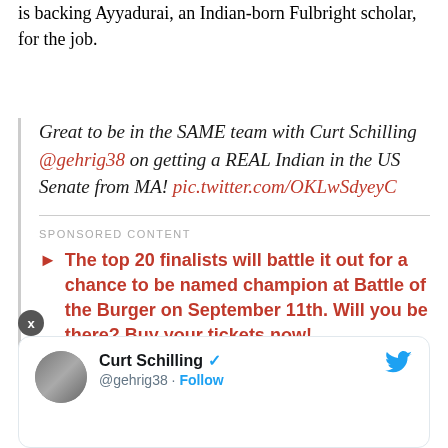is backing Ayyadurai, an Indian-born Fulbright scholar, for the job.
Great to be in the SAME team with Curt Schilling @gehrig38 on getting a REAL Indian in the US Senate from MA! pic.twitter.com/OKLwSdyeyC
SPONSORED CONTENT
▶ The top 20 finalists will battle it out for a chance to be named champion at Battle of the Burger on September 11th. Will you be there? Buy your tickets now!
— V.A. SHIVA (@va_shiva) March 1, 2017
[Figure (screenshot): Twitter card showing Curt Schilling (@gehrig38) with Follow button and Twitter bird icon]